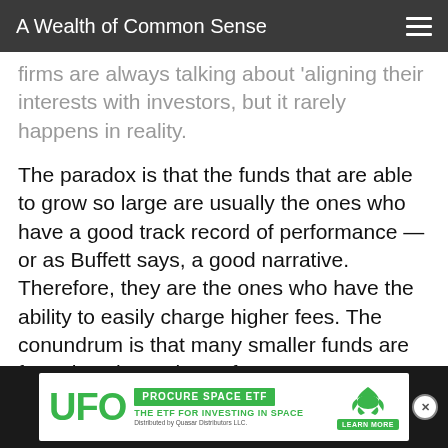A Wealth of Common Sense
firms are always talking about 'aligning their interests with investors, but it rarely happens in reality.
The paradox is that the funds that are able to grow so large are usually the ones who have a good track record of performance — or as Buffett says, a good narrative. Therefore, they are the ones who have the ability to easily charge higher fees. The conundrum is that many smaller funds are forced to charge lower fees to attract investors, but probably can't afford it, while larger funds could afford to cut their fees, but feel entitled to them.
[Figure (infographic): Advertisement banner for UFO - Procure Space ETF. Green text on white background reading 'UFO PROCURE SPACE ETF THE ETF FOR INVESTING IN SPACE' with a dragon/bat logo and 'LEARN MORE' button. Distributed by Quasar Distributors LLC.]